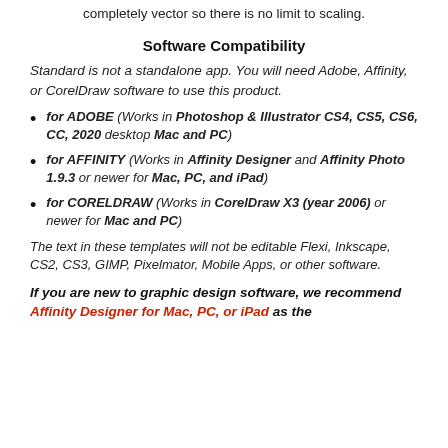completely vector so there is no limit to scaling.
Software Compatibility
Standard is not a standalone app. You will need Adobe, Affinity, or CorelDraw software to use this product.
for ADOBE (Works in Photoshop & Illustrator CS4, CS5, CS6, CC, 2020 desktop Mac and PC)
for AFFINITY (Works in Affinity Designer and Affinity Photo 1.9.3 or newer for Mac, PC, and iPad)
for CORELDRAW (Works in CorelDraw X3 (year 2006) or newer for Mac and PC)
The text in these templates will not be editable Flexi, Inkscape, CS2, CS3, GIMP, Pixelmator, Mobile Apps, or other software.
If you are new to graphic design software, we recommend Affinity Designer for Mac, PC, or iPad as the